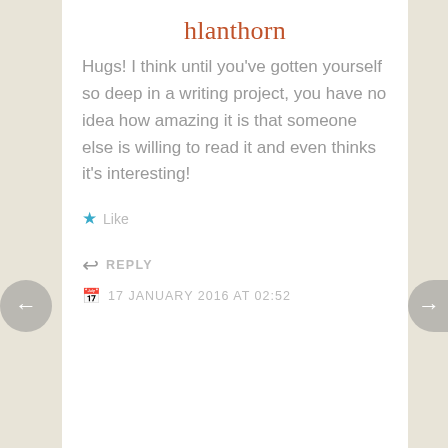hlanthorn
Hugs! I think until you've gotten yourself so deep in a writing project, you have no idea how amazing it is that someone else is willing to read it and even thinks it's interesting!
★ Like
↳ REPLY
17 JANUARY 2016 AT 02:52
[Figure (illustration): Decorative circular button icon with diamond dot pattern on yellow-green background, bordered by dark ring, centered on dark horizontal divider line]
sallyanne lenderink